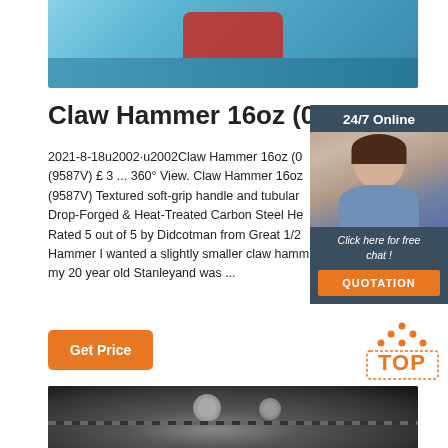[Figure (photo): Blue claw hammer tool photograph, top portion of page]
Claw Hammer 16oz (0.45k…
2021-8-18u2002·u2002Claw Hammer 16oz (0… (9587V) £ 3 ... 360° View. Claw Hammer 16oz… (9587V) Textured soft-grip handle and tubular… Drop-Forged & Heat-Treated Carbon Steel He… Rated 5 out of 5 by Didcotman from Great 1/2… Hammer I wanted a slightly smaller claw hamm… my 20 year old Stanleyand was ...
[Figure (photo): 24/7 Online chat panel with female customer service agent wearing headset, dark blue-grey background, orange QUOTATION button]
[Figure (logo): TOP badge logo with orange dots arranged in triangle above the word TOP in orange with dotted outline]
[Figure (photo): Black and white close-up photo of mechanical hammer/industrial equipment at bottom of page]
Get Price